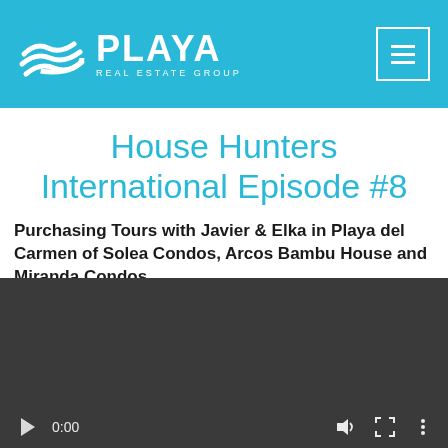PLAYA REAL ESTATE GROUP
House Hunters International Episode #8
Purchasing Tours with Javier & Elka in Playa del Carmen of Solea Condos, Arcos Bambu House and Miranda Condos.
[Figure (screenshot): Video player showing a dark/black screen with playback controls at the bottom including a play button, 0:00 timestamp, volume icon, fullscreen icon, and more options icon.]